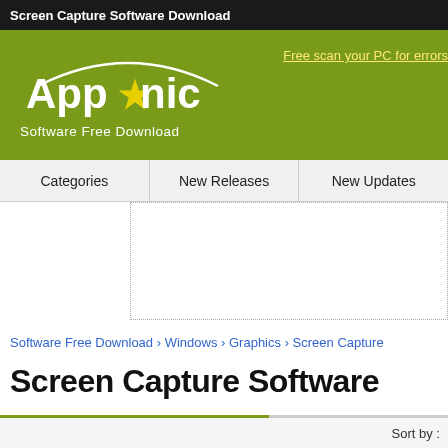Screen Capture Software Download
[Figure (logo): Apponic logo - white text on green background with arc and star, tagline: Software Free Download]
Free scan your PC for errors
Categories | New Releases | New Updates
[Figure (other): Advertisement placeholder area with dotted border]
Software Free Download › Windows › Graphics › Screen Capture
Screen Capture Software
Sort by :